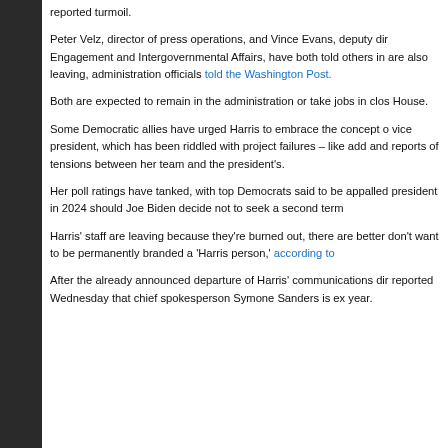reported turmoil.
Peter Velz, director of press operations, and Vince Evans, deputy dir Engagement and Intergovernmental Affairs, have both told others in are also leaving, administration officials told the Washington Post.
Both are expected to remain in the administration or take jobs in clos House.
Some Democratic allies have urged Harris to embrace the concept o vice president, which has been riddled with project failures – like add and reports of tensions between her team and the president's.
Her poll ratings have tanked, with top Democrats said to be appalled president in 2024 should Joe Biden decide not to seek a second term
Harris' staff are leaving because they're burned out, there are better don't want to be permanently branded a 'Harris person,' according to
After the already announced departure of Harris' communications dir reported Wednesday that chief spokesperson Symone Sanders is ex year.